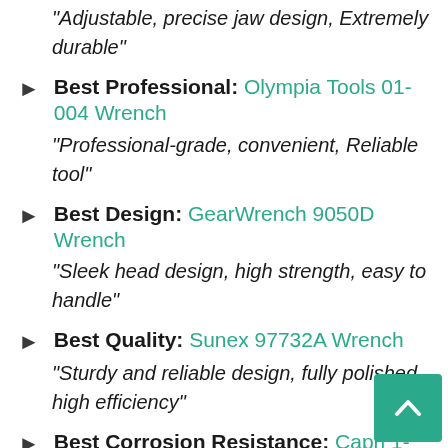“Adjustable, precise jaw design, Extremely durable”
Best Professional: Olympia Tools 01-004 Wrench
“Professional-grade, convenient, Reliable tool”
Best Design: GearWrench 9050D Wrench
“Sleek head design, high strength, easy to handle”
Best Quality: Sunex 97732A Wrench
“Sturdy and reliable design, fully polished, high efficiency”
Best Corrosion Resistance: Capri 1-1413 Wrench